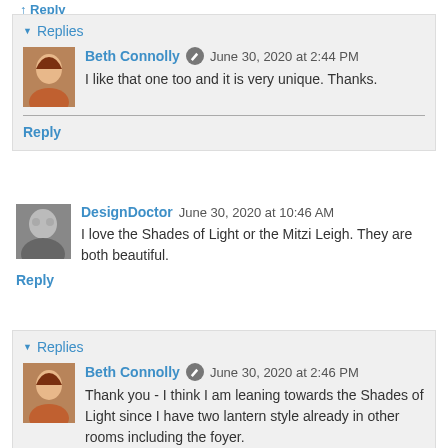Reply
Replies
Beth Connolly  June 30, 2020 at 2:44 PM
I like that one too and it is very unique. Thanks.
Reply
DesignDoctor  June 30, 2020 at 10:46 AM
I love the Shades of Light or the Mitzi Leigh. They are both beautiful.
Reply
Replies
Beth Connolly  June 30, 2020 at 2:46 PM
Thank you - I think I am leaning towards the Shades of Light since I have two lantern style already in other rooms including the foyer.